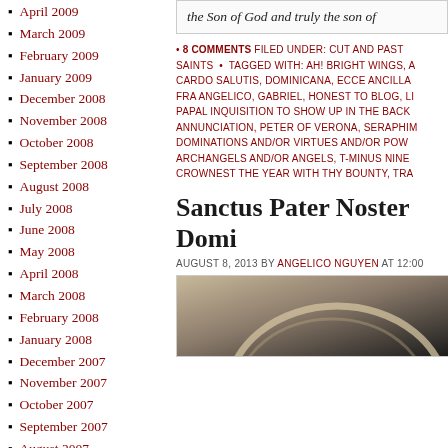April 2009
March 2009
February 2009
January 2009
December 2008
November 2008
October 2008
September 2008
August 2008
July 2008
June 2008
May 2008
April 2008
March 2008
February 2008
January 2008
December 2007
November 2007
October 2007
September 2007
August 2007
the Son of God and truly the son of
• 8 COMMENTS FILED UNDER: CUT AND PASTE SAINTS • TAGGED WITH: AH! BRIGHT WINGS, A CARDO SALUTIS, DOMINICANA, ECCE ANCILLA FRA ANGELICO, GABRIEL, HONEST TO BLOG, LI PAPAL INQUISITION TO SHOW UP IN THE BACK ANNUNCIATION, PETER OF VERONA, SERAPHIM DOMINATIONS AND/OR VIRTUES AND/OR POW ARCHANGELS AND/OR ANGELS, T-MINUS NINE CROWNEST THE YEAR WITH THY BOUNTY, TRA
Sanctus Pater Noster Domi
AUGUST 8, 2013 BY ANGELICO NGUYEN AT 12:00
[Figure (photo): Partial view of an illuminated manuscript or decorative art piece showing an arc/halo detail in gold and dark tones]